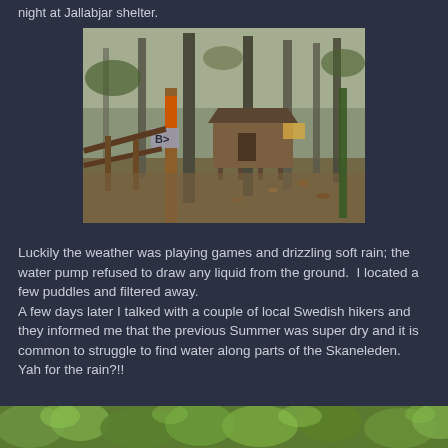night at Jallabjar shelter.
[Figure (photo): A forest scene with a wooden trail shelter/hut on raised stilts among trees, with a trail signpost bearing an orange marker in the foreground, fallen leaves on the ground, misty/rainy atmosphere.]
Luckily the weather was playing games and drizzling soft rain; the water pump refused to draw any liquid from the ground.  I located a few puddles and filtered away.
A few days later I talked with a couple of local Swedish hikers and they informed me that the previous Summer was super dry and it is common to struggle to find water along parts of the Skaneleden.  Yah for the rain?!!
[Figure (photo): Partial bottom strip of a green leafy outdoor photograph, cut off at the page edge.]